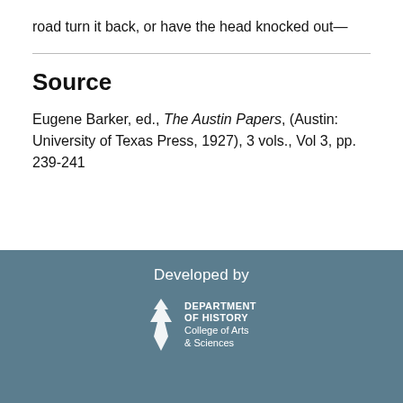road turn it back, or have the head knocked out—
Source
Eugene Barker, ed., The Austin Papers, (Austin: University of Texas Press, 1927), 3 vols., Vol 3, pp. 239-241
Developed by DEPARTMENT OF HISTORY College of Arts & Sciences UNT